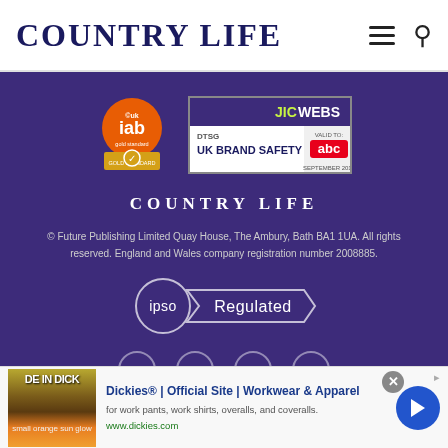COUNTRY LIFE
[Figure (logo): IAB UK Gold Standard certification badge (orange circle with IAB mark and gold ribbon)]
[Figure (logo): DTSG JIC WEBS UK Brand Safety badge with abc logo valid to September 2019]
COUNTRY LIFE
© Future Publishing Limited Quay House, The Ambury, Bath BA1 1UA. All rights reserved. England and Wales company registration number 2008885.
[Figure (logo): IPSO Regulated badge]
[Figure (logo): Row of circular badge outlines at bottom of purple section]
[Figure (infographic): Dickies advertisement banner: DE IN DICKIES image, Dickies Official Site Workwear & Apparel ad, www.dickies.com, with close button and play arrow]